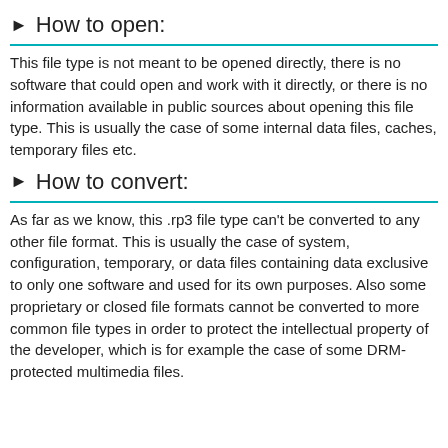► How to open:
This file type is not meant to be opened directly, there is no software that could open and work with it directly, or there is no information available in public sources about opening this file type. This is usually the case of some internal data files, caches, temporary files etc.
► How to convert:
As far as we know, this .rp3 file type can't be converted to any other file format. This is usually the case of system, configuration, temporary, or data files containing data exclusive to only one software and used for its own purposes. Also some proprietary or closed file formats cannot be converted to more common file types in order to protect the intellectual property of the developer, which is for example the case of some DRM-protected multimedia files.